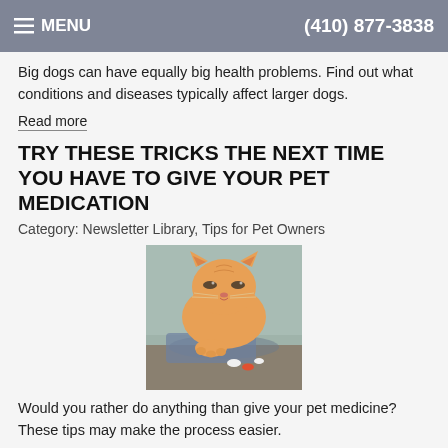≡ MENU   (410) 877-3838
Big dogs can have equally big health problems. Find out what conditions and diseases typically affect larger dogs.
Read more
TRY THESE TRICKS THE NEXT TIME YOU HAVE TO GIVE YOUR PET MEDICATION
Category: Newsletter Library, Tips for Pet Owners
[Figure (photo): Orange/ginger cat looking down at pills on a surface, with blue-grey background]
Would you rather do anything than give your pet medicine? These tips may make the process easier.
Read more